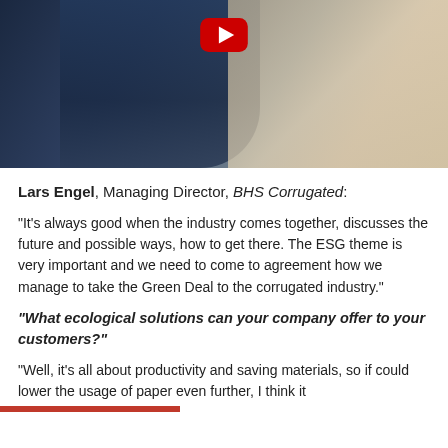[Figure (photo): A man in a dark blazer with a lanyard, holding a tablet, standing indoors at what appears to be a conference or event venue. A YouTube play button icon is overlaid at the top center.]
Lars Engel, Managing Director, BHS Corrugated:
“It’s always good when the industry comes together, discusses the future and possible ways, how to get there. The ESG theme is very important and we need to come to agreement how we manage to take the Green Deal to the corrugated industry.”
“What ecological solutions can your company offer to your customers?”
“Well, it’s all about productivity and saving materials, so if could lower the usage of paper even further, I think it